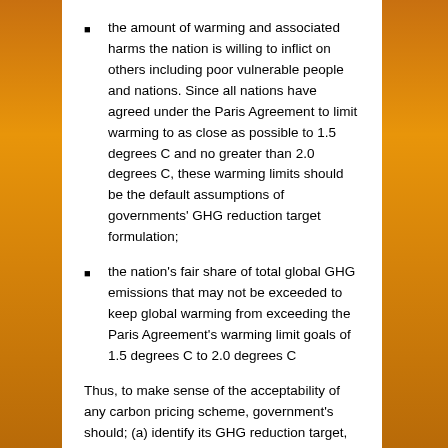the amount of warming and associated harms the nation is willing to inflict on others including poor vulnerable people and nations. Since all nations have agreed under the Paris Agreement to limit warming to as close as possible to 1.5 degrees C and no greater than 2.0 degrees C, these warming limits should be the default assumptions of governments' GHG reduction target formulation;
the nation's fair share of total global GHG emissions that may not be exceeded to keep global warming from exceeding the Paris Agreement's warming limit goals of 1.5 degrees C to 2.0 degrees C
Thus, to make sense of the acceptability of any carbon pricing scheme, government's should; (a) identify its GHG reduction target, (b) how the target achieves its GHG emissions reduction obligations in regard to warming limits and fairness, (c) the date by which the target will be achieved, and (e) the reduction pathway that will achieve the GHG reduction goal.